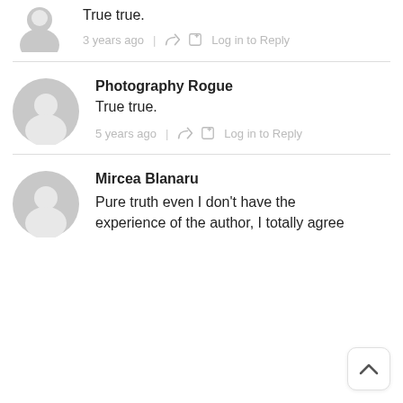[Figure (illustration): Grey default user avatar (partial, top of page)]
True true.
3 years ago  |  Share  Log in to Reply
[Figure (illustration): Grey default user avatar for Photography Rogue]
Photography Rogue
True true.
5 years ago  |  Share  Log in to Reply
[Figure (illustration): Grey default user avatar for Mircea Blanaru]
Mircea Blanaru
Pure truth even I don't have the experience of the author, I totally agree